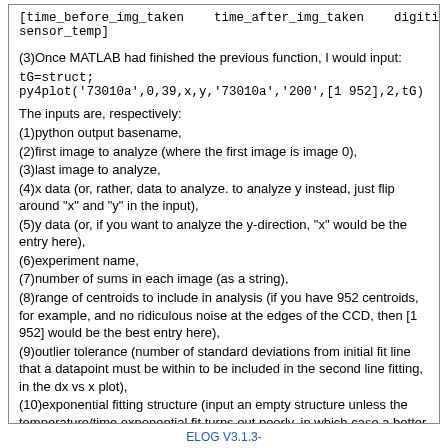[time_before_img_taken    time_after_img_taken    digitizer_temp
sensor_temp]
(3)Once MATLAB had finished the previous function, I would input:
tG=struct;
py4plot('73010a',0,39,x,y,'73010a','200',[1 952],2,tG)
The inputs are, respectively:
(1)python output basename,
(2)first image to analyze (where the first image is image 0),
(3)last image to analyze,
(4)x data (or, rather, data to analyze. to analyze y instead, just flip around "x" and "y" in the input),
(5)y data (or, if you want to analyze the y-direction, "x" would be the entry here),
(6)experiment name,
(7)number of sums in each image (as a string),
(8)range of centroids to include in analysis (if you have 952 centroids, for example, and no ridiculous noise at the edges of the CCD, then [1 952] would be the best entry here),
(9)outlier tolerance (number of standard deviations from initial fit line that a datapoint must be within to be included in the second line fitting, in the dx vs x plot),
(10)exponential fitting structure (input an empty structure unless the temperature/time exponential fit turns out poorly, in which case a better fit parameter guess can be inputted as field tG.guess)
ELOG V3.1.3-